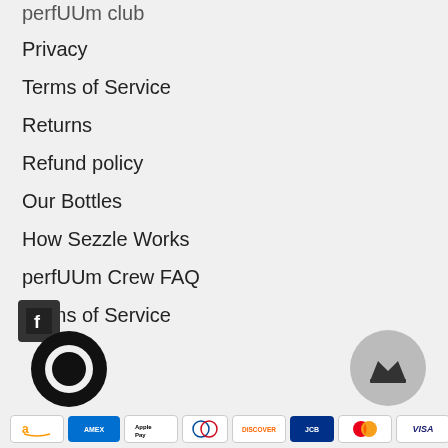perfUUm club
Privacy
Terms of Service
Returns
Refund policy
Our Bottles
How Sezzle Works
perfUUm Crew FAQ
Terms of Service
[Figure (logo): Facebook icon (dark square with white F)]
[Figure (logo): Chat/messaging circle icon (black circle with white ring)]
[Figure (logo): Crown button icon (grey circle with dark crown)]
[Figure (other): Payment method badges: Amazon, American Express, Apple Pay, Diners Club, Discover, JCB, Mastercard, Visa]